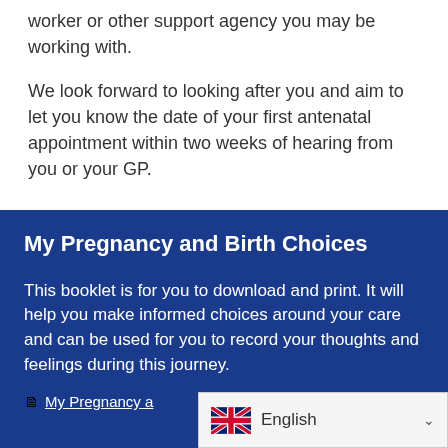worker or other support agency you may be working with.
We look forward to looking after you and aim to let you know the date of your first antenatal appointment within two weeks of hearing from you or your GP.
My Pregnancy and Birth Choices
This booklet is for you to download and print. It will help you make informed choices around your care and can be used for you to record your thoughts and feelings during this journey.
My Pregnancy a…